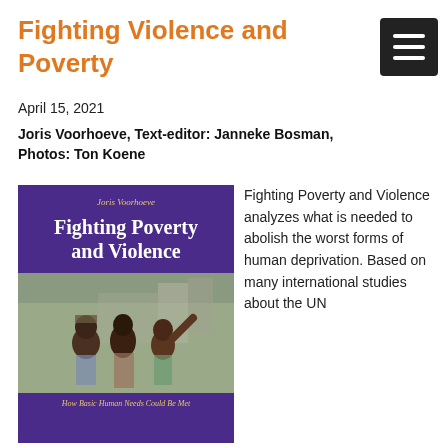Fighting Violence and Poverty
April 15, 2021
Joris Voorhoeve, Text-editor: Janneke Bosman, Photos: Ton Koene
[Figure (illustration): Book cover of 'Fighting Poverty and Violence: How Basic Human Needs Could Be Met' by Joris Voorhoeve, with purple background and photo of smiling African children in an urban setting]
Fighting Poverty and Violence analyzes what is needed to abolish the worst forms of human deprivation. Based on many international studies about the UN